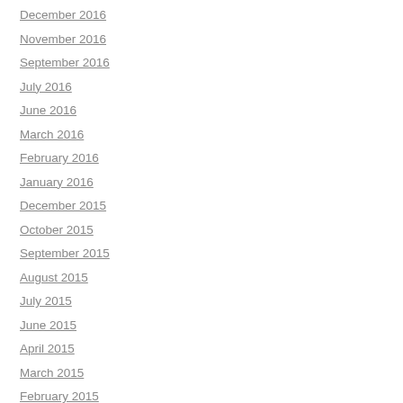December 2016
November 2016
September 2016
July 2016
June 2016
March 2016
February 2016
January 2016
December 2015
October 2015
September 2015
August 2015
July 2015
June 2015
April 2015
March 2015
February 2015